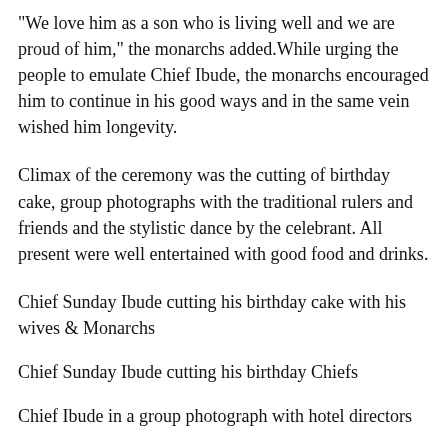“We love him as a son who is living well and we are proud of him,” the monarchs added.While urging the people to emulate Chief Ibude, the monarchs encouraged him to continue in his good ways and in the same vein wished him longevity.
Climax of the ceremony was the cutting of birthday cake, group photographs with the traditional rulers and friends and the stylistic dance by the celebrant. All present were well entertained with good food and drinks.
Chief Sunday Ibude cutting his birthday cake with his wives & Monarchs
Chief Sunday Ibude cutting his birthday Chiefs
Chief Ibude in a group photograph with hotel directors
Chief Ibude in a group photograph with some members of